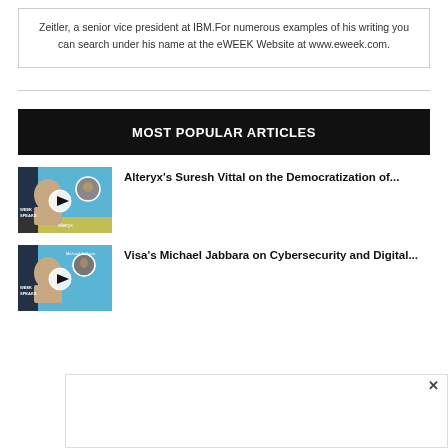Zeitler, a senior vice president at IBM.For numerous examples of his writing you can search under his name at the eWEEK Website at www.eweek.com.
MOST POPULAR ARTICLES
Alteryx's Suresh Vittal on the Democratization of...
[Figure (photo): Thumbnail for Alteryx podcast episode with play button overlay, eWeek Speaks branding, blue and yellow design with two speaker portraits]
Visa's Michael Jabbara on Cybersecurity and Digital...
[Figure (photo): Thumbnail for Visa podcast episode with play button overlay, eWeek Speaks branding, blue design with speaker portrait]